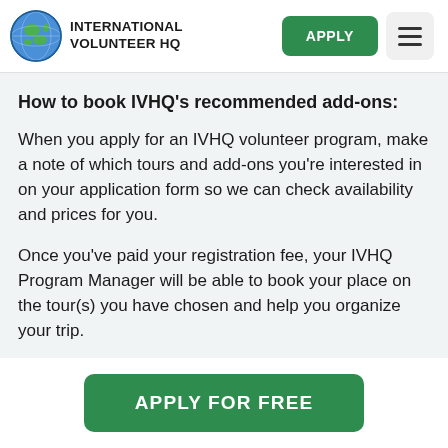INTERNATIONAL VOLUNTEER HQ
How to book IVHQ's recommended add-ons:
When you apply for an IVHQ volunteer program, make a note of which tours and add-ons you're interested in on your application form so we can check availability and prices for you.
Once you've paid your registration fee, your IVHQ Program Manager will be able to book your place on the tour(s) you have chosen and help you organize your trip.
APPLY FOR FREE